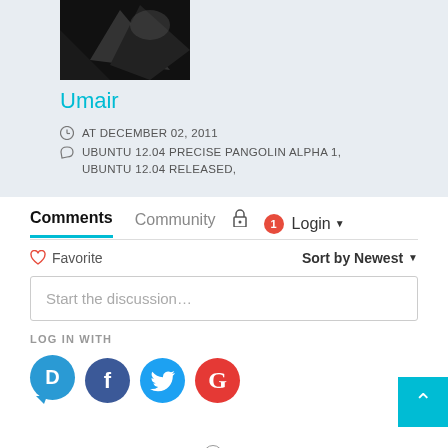[Figure (photo): Black and white profile photo thumbnail of user Umair]
Umair
AT DECEMBER 02, 2011
UBUNTU 12.04 PRECISE PANGOLIN ALPHA 1, UBUNTU 12.04 RELEASED,
Comments  Community  Login
Favorite  Sort by Newest
Start the discussion…
LOG IN WITH
[Figure (logo): Social login icons: Disqus, Facebook, Twitter, Google]
OR SIGN UP WITH DISQUS